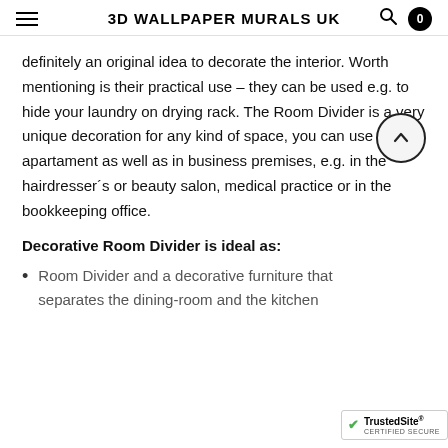3D WALLPAPER MURALS UK
definitely an original idea to decorate the interior. Worth mentioning is their practical use – they can be used e.g. to hide your laundry on drying rack. The Room Divider is a very unique decoration for any kind of space, you can use it in the apartament as well as in business premises, e.g. in the hairdresser´s or beauty salon, medical practice or in the bookkeeping office.
Decorative Room Divider is ideal as:
Room Divider and a decorative furniture that separates the dining-room and the kitchen